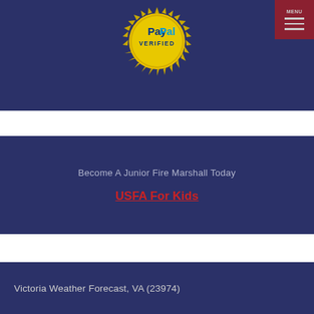[Figure (logo): PayPal Verified gold seal badge with sunburst border, blue PayPal logo text and 'VERIFIED' text below]
Become A Junior Fire Marshall Today
USFA For Kids
Victoria Weather Forecast, VA (23974)